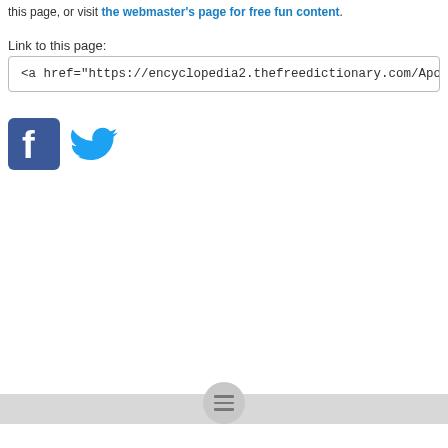this page, or visit the webmaster's page for free fun content.
Link to this page:
<a href="https://encyclopedia2.thefreedictionary.com/Apostates">Apostas
[Figure (logo): Facebook and Twitter social media icon buttons]